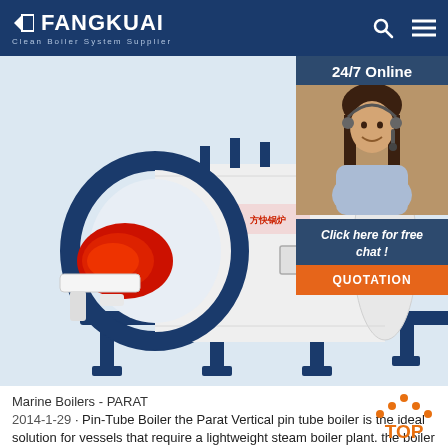FANGKUAI - Clean Boiler System Supplier
[Figure (photo): Industrial oil/gas fired boiler with blue frame and red burner, white cylindrical body with Fangkuai branding, mounted on blue steel frame. Product photo on light background.]
[Figure (photo): Customer service agent - woman with headset smiling, with '24/7 Online' banner and 'Click here for free chat!' call-to-action with QUOTATION button.]
Marine Boilers - PARAT
2014-1-29 · Pin-Tube Boiler the Parat Vertical pin tube boiler is the ideal solution for vessels that require a lightweight steam boiler plant. the boiler is of vertical design with pin tube bundles